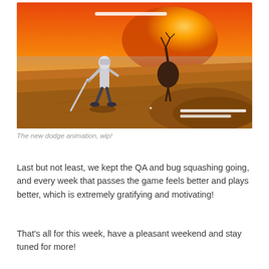[Figure (screenshot): Game screenshot showing two characters in a desert landscape with orange sunset sky. A slim armored character with a sword in the foreground faces a larger dark creature in the background. White UI health/status bars visible at top center and bottom right.]
The new dodge animation, wip!
Last but not least, we kept the QA and bug squashing going, and every week that passes the game feels better and plays better, which is extremely gratifying and motivating!
That's all for this week, have a pleasant weekend and stay tuned for more!